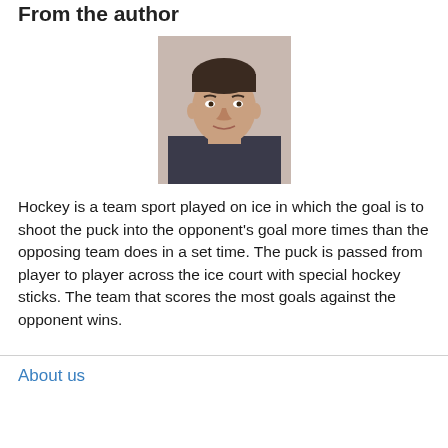From the author
[Figure (photo): Headshot photo of a man with dark hair, facing the camera, wearing a dark jacket, on a light background.]
Hockey is a team sport played on ice in which the goal is to shoot the puck into the opponent's goal more times than the opposing team does in a set time. The puck is passed from player to player across the ice court with special hockey sticks. The team that scores the most goals against the opponent wins.
About us